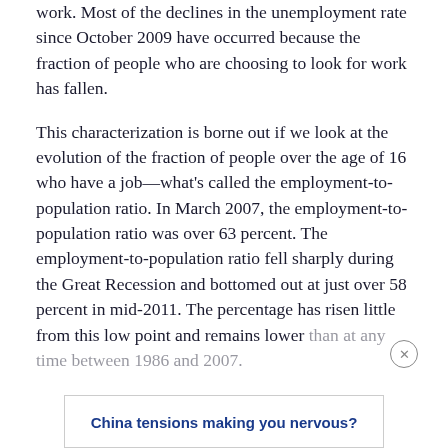work. Most of the declines in the unemployment rate since October 2009 have occurred because the fraction of people who are choosing to look for work has fallen.
This characterization is borne out if we look at the evolution of the fraction of people over the age of 16 who have a job—what's called the employment-to-population ratio. In March 2007, the employment-to-population ratio was over 63 percent. The employment-to-population ratio fell sharply during the Great Recession and bottomed out at just over 58 percent in mid-2011. The percentage has risen little from this low point and remains lower than at any time between 1986 and 2007.
China tensions making you nervous?